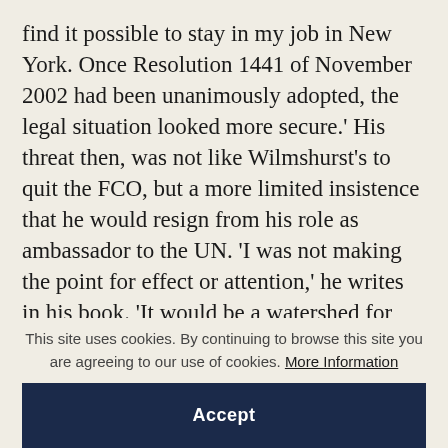find it possible to stay in my job in New York. Once Resolution 1441 of November 2002 had been unanimously adopted, the legal situation looked more secure.' His threat then, was not like Wilmshurst's to quit the FCO, but a more limited insistence that he would resign from his role as ambassador to the UN. 'I was not making the point for effect or attention,' he writes in his book. 'It would be a watershed for me.' But he also suggested to Chilcot that he wanted, in part, to influence policy: 'Maybe I thought that that was a
This site uses cookies. By continuing to browse this site you are agreeing to our use of cookies. More Information
Accept